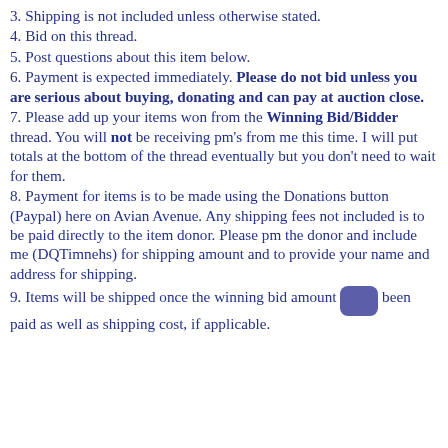3. Shipping is not included unless otherwise stated.
4. Bid on this thread.
5. Post questions about this item below.
6. Payment is expected immediately. Please do not bid unless you are serious about buying, donating and can pay at auction close.
7. Please add up your items won from the Winning Bid/Bidder thread. You will not be receiving pm's from me this time. I will put totals at the bottom of the thread eventually but you don't need to wait for them.
8. Payment for items is to be made using the Donations button (Paypal) here on Avian Avenue. Any shipping fees not included is to be paid directly to the item donor. Please pm the donor and include me (DQTimnehs) for shipping amount and to provide your name and address for shipping.
9. Items will be shipped once the winning bid amount has been paid as well as shipping cost, if applicable.